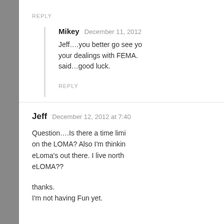REPLY
Mikey   December 11, 2012
Jeff….you better go see yo your dealings with FEMA. said…good luck.
REPLY
Jeff   December 12, 2012 at 7:40
Question….Is there a time limi on the LOMA? Also I'm thinkin eLoma's out there. I live north eLOMA??
thanks.
I'm not having Fun yet.